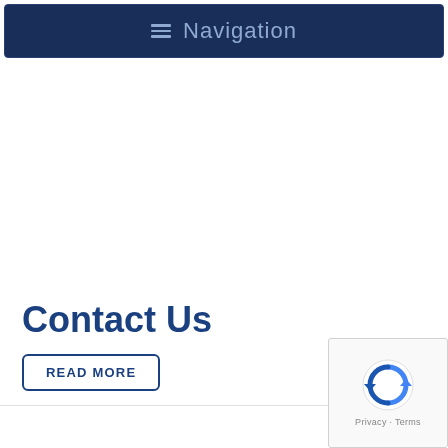≡ Navigation
Contact Us
READ MORE
[Figure (other): reCAPTCHA widget with Privacy and Terms links]